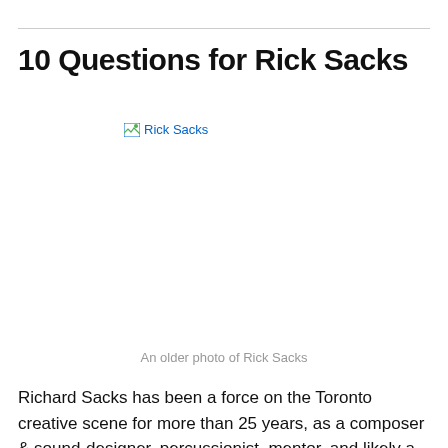10 Questions for Rick Sacks
[Figure (photo): Broken image placeholder labeled 'Rick Sacks' — an older photo of Rick Sacks that failed to load]
An older photo of Rick Sacks
Richard Sacks has been a force on the Toronto creative scene for more than 25 years, as a composer & sound-designer, percussionist, mentor, and likely a few others